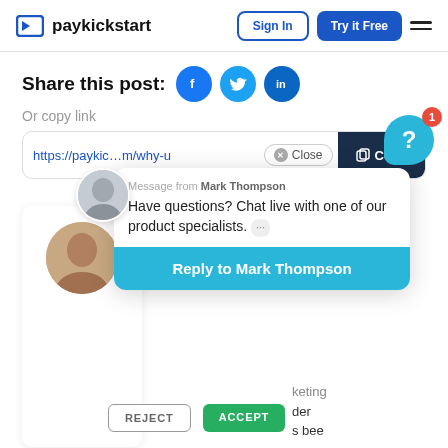paykickstart — Sign In | Try it Free
Share this post:
Or copy link
https://paykic...m/why-u
[Figure (screenshot): Chat popup from Mark Thompson: 'Have questions? Chat live with one of our product specialists.' with a 'Reply to Mark Thompson' button, plus REJECT and ACCEPT buttons, and a chat bubble icon with badge '1']